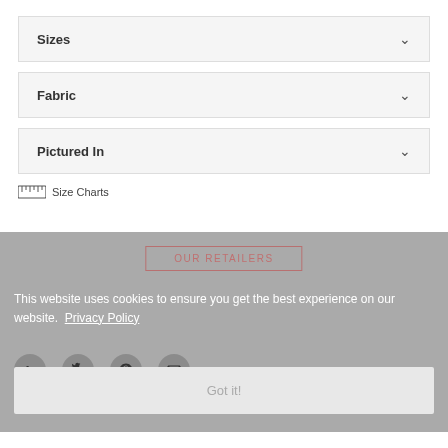Sizes
Fabric
Pictured In
Size Charts
OUR RETAILERS
This website uses cookies to ensure you get the best experience on our website. Privacy Policy
Got it!